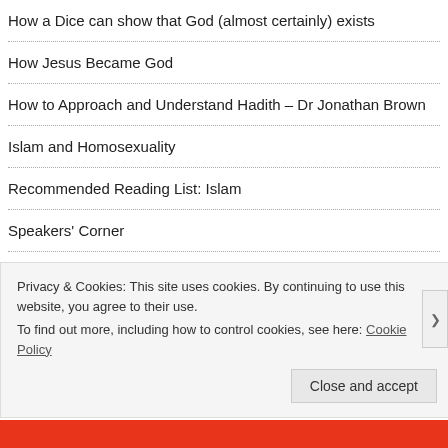How a Dice can show that God (almost certainly) exists
How Jesus Became God
How to Approach and Understand Hadith – Dr Jonathan Brown
Islam and Homosexuality
Recommended Reading List: Islam
Speakers' Corner
The best argument against those who say the Quran & Islam are inherently violent.
Does Islam Permit Muslim Men to Rape Their Slave Girls?
Privacy & Cookies: This site uses cookies. By continuing to use this website, you agree to their use.
To find out more, including how to control cookies, see here: Cookie Policy
Close and accept